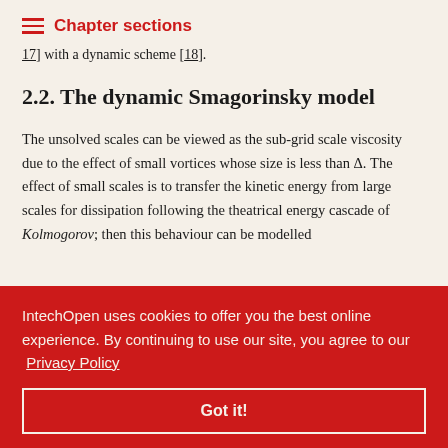Chapter sections
17] with a dynamic scheme [18].
2.2. The dynamic Smagorinsky model
The unsolved scales can be viewed as the sub-grid scale viscosity due to the effect of small vortices whose size is less than Δ. The effect of small scales is to transfer the kinetic energy from large scales for dissipation following the theatrical energy cascade of Kolmogorov; then this behaviour can be modelled
s are strongly ons, small- ore t numerical re few
IntechOpen uses cookies to offer you the best online experience. By continuing to use our site, you agree to our Privacy Policy
Got it!